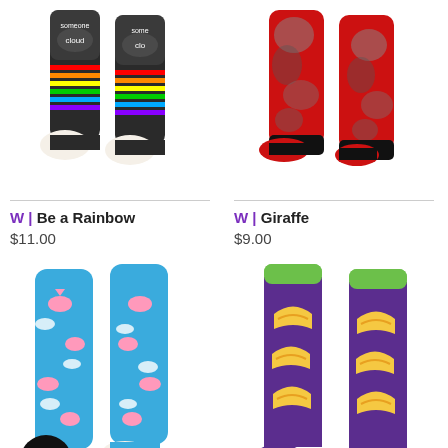[Figure (photo): Two socks with rainbow stripes and cloud/someone text on dark background]
[Figure (photo): Two red socks with giraffe wearing sunglasses pattern]
W | Be a Rainbow
$11.00
W | Giraffe
$9.00
[Figure (photo): Two blue socks with flying pink pigs pattern, gift button overlay]
[Figure (photo): Two purple socks with taco pattern and green cuff]